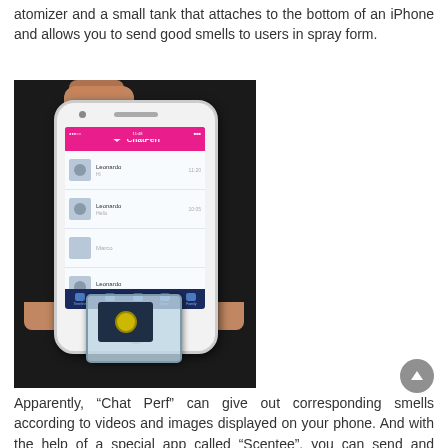atomizer and a small tank that attaches to the bottom of an iPhone and allows you to send good smells to users in spray form.
[Figure (photo): A white iPhone being held by a person's hands, displaying the ChatPerf app on its screen showing a messaging interface with contact list. Attached to the bottom of the phone is a small transparent accessory device with a yellow button, which is the ChatPerf atomizer/scent tank.]
Apparently, “Chat Perf” can give out corresponding smells according to videos and images displayed on your phone. And with the help of a special app called “Scentee”, you can send and receive fragrances with friends who also has the accessory